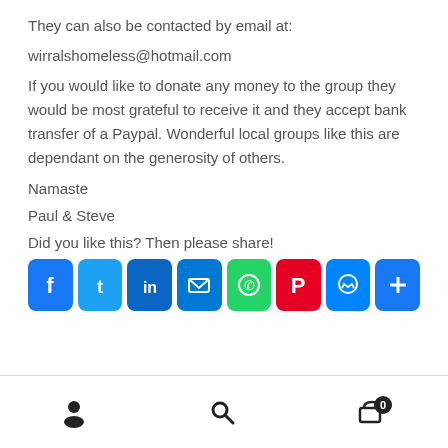They can also be contacted by email at:
wirralshomeless@hotmail.com
If you would like to donate any money to the group they would be most grateful to receive it and they accept bank transfer of a Paypal. Wonderful local groups like this are dependant on the generosity of others.
Namaste
Paul & Steve
Did you like this? Then please share!
[Figure (other): Row of social media share buttons: Facebook, Twitter, LinkedIn, Email, WhatsApp, Pinterest, Messenger, and a plus/more button]
Bottom navigation bar with user account icon, search icon, and cart icon with badge showing 0